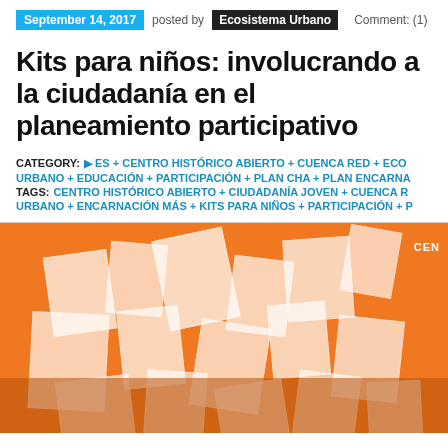September 14, 2017  posted by  Ecosistema Urbano  Comment: (1)
Kits para niños: involucrando a la ciudadanía en el planeamiento participativo
CATEGORY:  ▷ ES + CENTRO HISTÓRICO ABIERTO + CUENCA RED + ECO... URBANO + EDUCACIÓN + PARTICIPACIÓN + PLAN CHA + PLAN ENCARNA...  TAGS:  CENTRO HISTÓRICO ABIERTO + CIUDADANÍA JOVEN + CUENCA R... URBANO + ENCARNACIÓN MÁS + KITS PARA NIÑOS + PARTICIPACIÓN + P...
[Figure (photo): Orange-tinted photo of children/participants holding up large white card posters/boards at a participatory planning event. Text 'CEN' visible in upper right corner.]